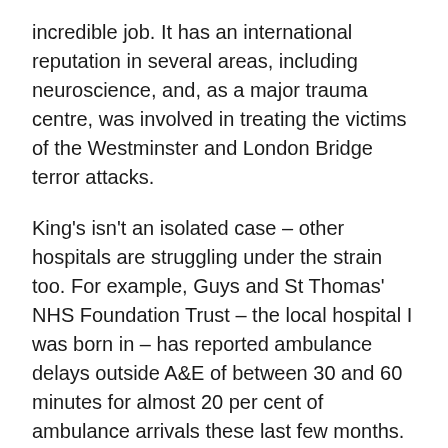incredible job. It has an international reputation in several areas, including neuroscience, and, as a major trauma centre, was involved in treating the victims of the Westminster and London Bridge terror attacks.
King's isn't an isolated case – other hospitals are struggling under the strain too. For example, Guys and St Thomas' NHS Foundation Trust – the local hospital I was born in – has reported ambulance delays outside A&E of between 30 and 60 minutes for almost 20 per cent of ambulance arrivals these last few months. And, nationally, on the basis of the most recent quarterly figures, over half a million patients were waiting for more than four hours in A&E to be admitted, discharged or treated – an increase of nearly 600 per cent compared to the